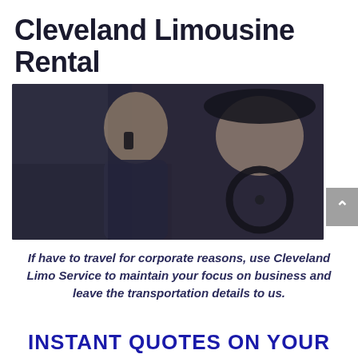Cleveland Limousine Rental
[Figure (photo): Two men inside a limousine — one in the back seat talking on a phone, another in the driver's seat smiling, both wearing dark clothing]
If have to travel for corporate reasons, use Cleveland Limo Service to maintain your focus on business and leave the transportation details to us.
INSTANT QUOTES ON YOUR